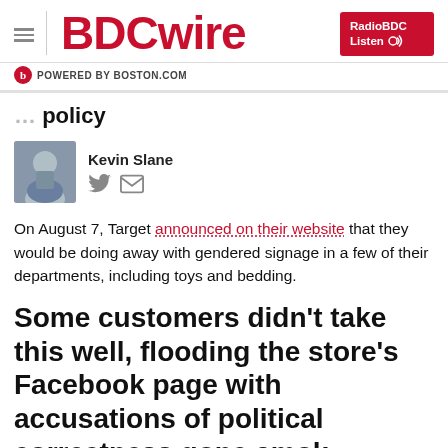BDCwire — POWERED BY BOSTON.COM
policy
Kevin Slane
On August 7, Target announced on their website that they would be doing away with gendered signage in a few of their departments, including toys and bedding.
Some customers didn't take this well, flooding the store's Facebook page with accusations of political correctness gone amok, among